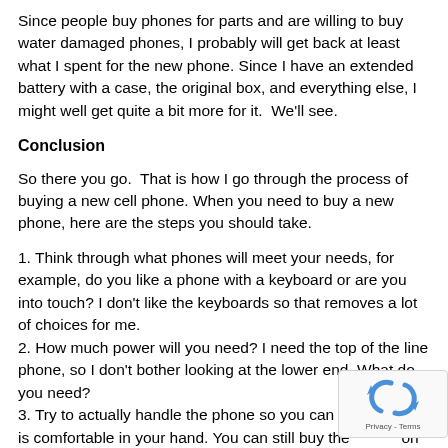Since people buy phones for parts and are willing to buy water damaged phones, I probably will get back at least what I spent for the new phone. Since I have an extended battery with a case, the original box, and everything else, I might well get quite a bit more for it.  We'll see.
Conclusion
So there you go.  That is how I go through the process of buying a new cell phone. When you need to buy a new phone, here are the steps you should take.
1. Think through what phones will meet your needs, for example, do you like a phone with a keyboard or are you into touch? I don't like the keyboards so that removes a lot of choices for me.
2. How much power will you need? I need the top of the line phone, so I don't bother looking at the lower end. What do you need?
3. Try to actually handle the phone so you can make sure it is comfortable in your hand. You can still buy the phone on line, but handling the phone might help you narrow down your choices even more.
[Figure (other): reCAPTCHA widget with rotating arrows icon and Privacy - Terms text]